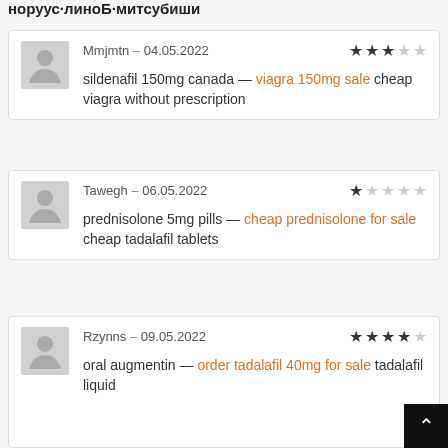норуус-линоБ-митсубиши
Mmjmtn – 04.05.2022 ★★★☆☆ sildenafil 150mg canada — viagra 150mg sale cheap viagra without prescription
Tawegh – 06.05.2022 ★☆☆☆☆ prednisolone 5mg pills — cheap prednisolone for sale cheap tadalafil tablets
Rzynns – 09.05.2022 ★★★★☆ oral augmentin — order tadalafil 40mg for sale tadalafil liquid